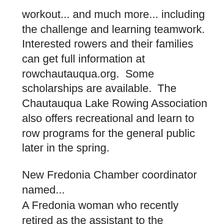workout... and much more... including the challenge and learning teamwork.  Interested rowers and their families can get full information at rowchautauqua.org.  Some scholarships are available.  The Chautauqua Lake Rowing Association also offers recreational and learn to row programs for the general public later in the spring.
New Fredonia Chamber coordinator named...
A Fredonia woman who recently retired as the assistant to the President at the SUNY College at Fredonia has been appointed as the new coordinator for the Fredonia Community Chamber of Commerce.  Chautauqua County Chamber of Commerce President and Chief Executive Officer Dan Heitzenrater says they are "incredibly pleased" to have Denise Szalkowski join the chamber team.  Heitzenrater says Szalkowski held the assistant's position at SUNY Fredonia for many years, and during that time managed the President's office, worked with numerous other departments on campus, served as